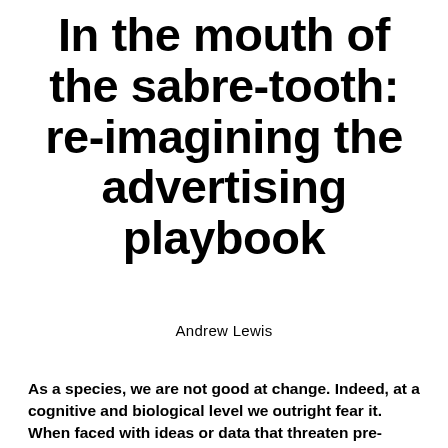In the mouth of the sabre-tooth: re-imagining the advertising playbook
Andrew Lewis
As a species, we are not good at change. Indeed, at a cognitive and biological level we outright fear it. When faced with ideas or data that threaten pre-existing beliefs, we respond much